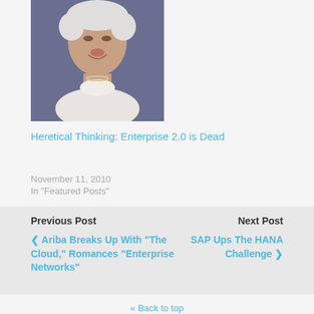[Figure (photo): Portrait photo of an elderly woman with white curly hair, smiling, wearing a white lace blouse and pearl necklace, against a dark background]
Heretical Thinking: Enterprise 2.0 is Dead
November 11, 2010
In "Featured Posts"
Previous Post
Next Post
< Ariba Breaks Up With "The Cloud," Romances "Enterprise Networks"
SAP Ups The HANA Challenge >
« Back to top